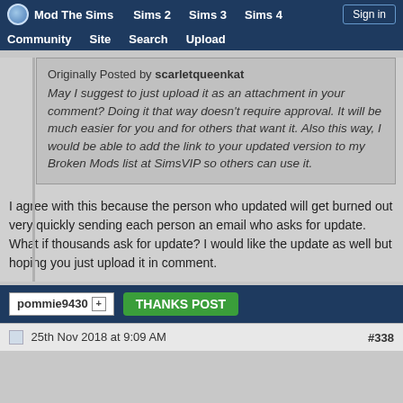Mod The Sims  Sims 2  Sims 3  Sims 4  Sign in  Community  Site  Search  Upload
Originally Posted by scarletqueenkat
May I suggest to just upload it as an attachment in your comment? Doing it that way doesn't require approval. It will be much easier for you and for others that want it. Also this way, I would be able to add the link to your updated version to my Broken Mods list at SimsVIP so others can use it.
I agree with this because the person who updated will get burned out very quickly sending each person an email who asks for update. What if thousands ask for update? I would like the update as well but hoping you just upload it in comment.
pommie9430  THANKS POST
25th Nov 2018 at 9:09 AM  #338